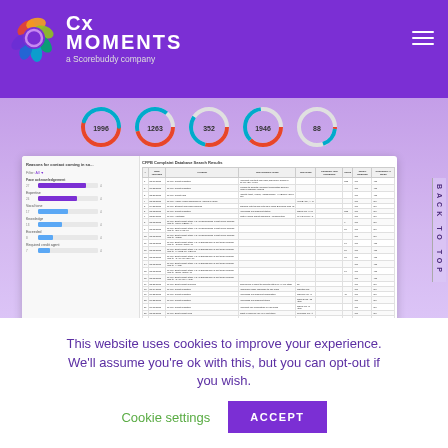[Figure (logo): CxMoments logo - a Scorebuddy company, with colorful iris/shutter icon on purple header background]
[Figure (screenshot): Dashboard screenshot showing a left analytics panel with bar charts and a right data table with rows of complaint/financial records. Above the screenshot are 5 donut/gauge chart circles with numeric values. Purple gradient background. 'BACK TO TOP' text on right side.]
This website uses cookies to improve your experience. We'll assume you're ok with this, but you can opt-out if you wish.
Cookie settings
ACCEPT